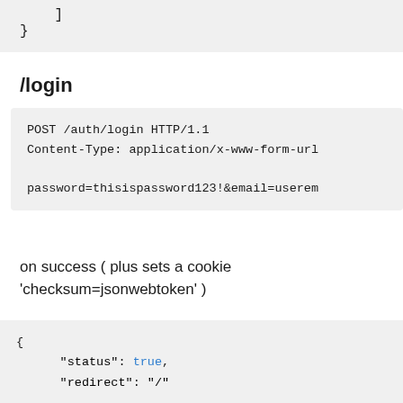]
}
/login
POST /auth/login HTTP/1.1
Content-Type: application/x-www-form-url

password=thisispassword123!&email=userem
on success ( plus sets a cookie 'checksum=jsonwebtoken' )
{
    "status": true,
    "redirect": "/"